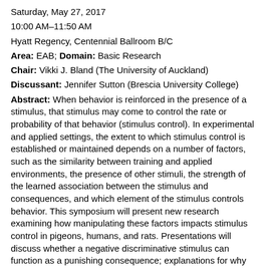Saturday, May 27, 2017
10:00 AM–11:50 AM
Hyatt Regency, Centennial Ballroom B/C
Area: EAB; Domain: Basic Research
Chair: Vikki J. Bland (The University of Auckland)
Discussant: Jennifer Sutton (Brescia University College)
Abstract: When behavior is reinforced in the presence of a stimulus, that stimulus may come to control the rate or probability of that behavior (stimulus control). In experimental and applied settings, the extent to which stimulus control is established or maintained depends on a number of factors, such as the similarity between training and applied environments, the presence of other stimuli, the strength of the learned association between the stimulus and consequences, and which element of the stimulus controls behavior. This symposium will present new research examining how manipulating these factors impacts stimulus control in pigeons, humans, and rats. Presentations will discuss whether a negative discriminative stimulus can function as a punishing consequence; explanations for why some elements of a multi-element stimulus may selectively control behavior; whether stimuli that provide conflicting information can jointly control behavior; and how differences in stimulus control between rat species may be applicable to rodent models of Attention-